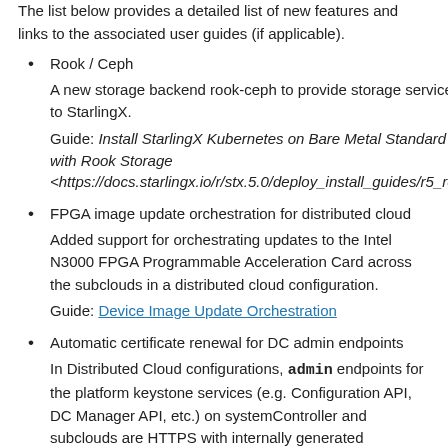The list below provides a detailed list of new features and links to the associated user guides (if applicable).
Rook / Ceph

A new storage backend rook-ceph to provide storage service to StarlingX.

Guide: Install StarlingX Kubernetes on Bare Metal Standard with Rook Storage <https://docs.starlingx.io/r/stx.5.0/deploy_install_guides/r5_rele...
FPGA image update orchestration for distributed cloud

Added support for orchestrating updates to the Intel N3000 FPGA Programmable Acceleration Card across the subclouds in a distributed cloud configuration.

Guide: Device Image Update Orchestration
Automatic certificate renewal for DC admin endpoints

In Distributed Cloud configurations, admin endpoints for the platform keystone services (e.g. Configuration API, DC Manager API, etc.) on systemController and subclouds are HTTPS with internally generated certificates. This feature adds support for automatically renewing the certificates